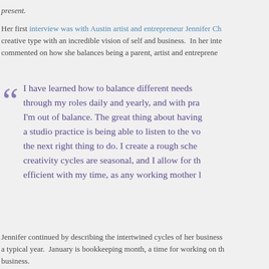present.

Her first interview was with Austin artist and entrepreneur Jennifer Ch... creative type with an incredible vision of self and business. In her inte... commented on how she balances being a parent, artist and entreprene...
I have learned how to balance different needs through my roles daily and yearly, and with pra... I'm out of balance. The great thing about having a studio practice is being able to listen to the vo... the next right thing to do. I create a rough sche... creativity cycles are seasonal, and I allow for th... efficient with my time, as any working mother l...
Jennifer continued by describing the intertwined cycles of her business... a typical year. January is bookkeeping month, a time for working on th... business.